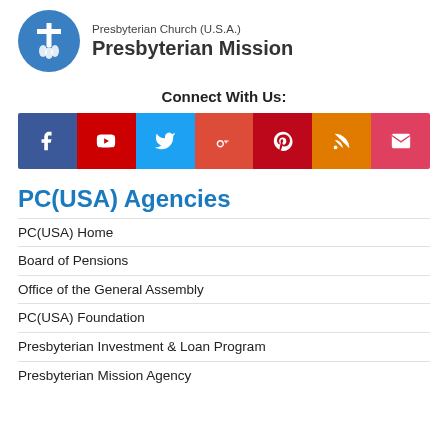[Figure (logo): Presbyterian Church (U.S.A.) Presbyterian Mission logo with circular blue emblem and text]
Connect With Us:
[Figure (infographic): Social media icon bar with icons for Facebook, YouTube, Twitter, Google+, Pinterest, RSS, and Email in colored boxes]
PC(USA) Agencies
PC(USA) Home
Board of Pensions
Office of the General Assembly
PC(USA) Foundation
Presbyterian Investment & Loan Program
Presbyterian Mission Agency